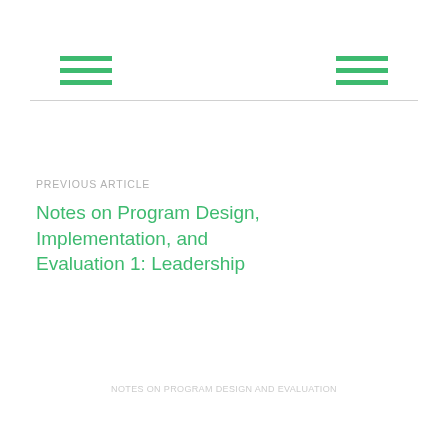PREVIOUS ARTICLE
Notes on Program Design, Implementation, and Evaluation 1: Leadership